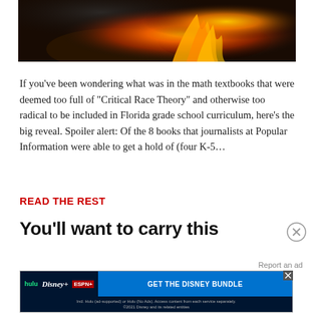[Figure (photo): Close-up photo of burning papers or books with bright orange and yellow flames against a dark background]
If you've been wondering what was in the math textbooks that were deemed too full of "Critical Race Theory" and otherwise too radical to be included in Florida grade school curriculum, here's the big reveal. Spoiler alert: Of the 8 books that journalists at Popular Information were able to get a hold of (four K-5...
READ THE REST
You'll want to carry this
Report an ad
[Figure (screenshot): Disney Bundle advertisement banner showing Hulu, Disney+, and ESPN+ logos with blue 'GET THE DISNEY BUNDLE' call-to-action button and fine print text]